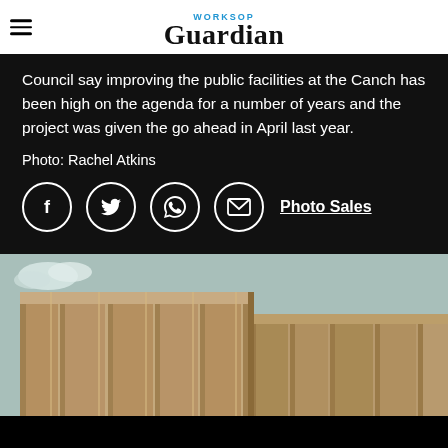Worksop Guardian
Council say improving the public facilities at the Canch has been high on the agenda for a number of years and the project was given the go ahead in April last year.
Photo: Rachel Atkins
[Figure (other): Social media sharing icons: Facebook, Twitter, WhatsApp, Email, and Photo Sales link]
[Figure (photo): Architectural rendering of a modern building with bronze/tan cladding, geometric facade with vertical panels and recesses, against a light blue sky with clouds visible at top left]